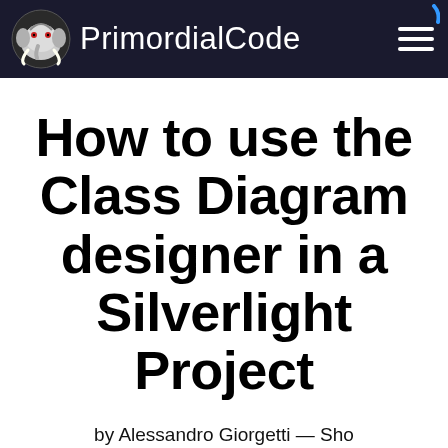PrimordialCode
How to use the Class Diagram designer in a Silverlight Project
by Alessandro Giorgetti — Show